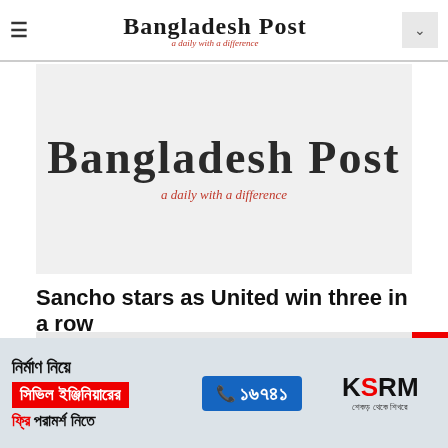Bangladesh Post — a daily with a difference
[Figure (logo): Bangladesh Post newspaper logo — large blackletter text 'Bangladesh Post' with red italic subtitle 'a daily with a difference' on a light gray background]
Sancho stars as United win three in a row
[Figure (infographic): Advertisement banner: Bengali text about civil engineering consultation — 'নির্মাণ নিয়ে সিভিল ইঞ্জিনিয়ারের ফ্রি পরামর্শ নিতে', phone number 16741 on blue background, KSRM logo with tagline]